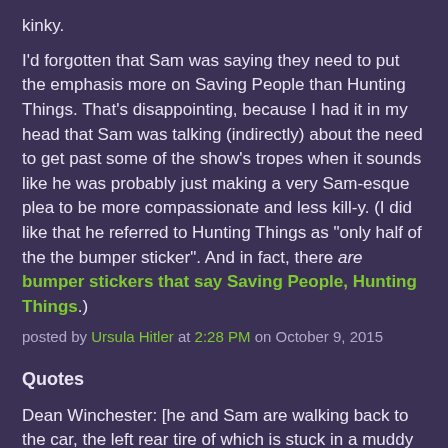kinky.
I'd forgotten that Sam was saying they need to put the emphasis more on Saving People than Hunting Things. That's disappointing, because I had it in my head that Sam was talking (indirectly) about the need to get past some of the show's tropes when it sounds like he was probably just making a very Sam-esque plea to be more compassionate and less kill-y. (I did like that he referred to Hunting Things as "only half of the the bumper sticker". And in fact, there are bumper stickers that say Saving People, Hunting Things.)
posted by Ursula Hitler at 2:28 PM on October 9, 2015
Quotes
Dean Winchester: [he and Sam are walking back to the car, the left rear tire of which is stuck in a muddy hole] We know